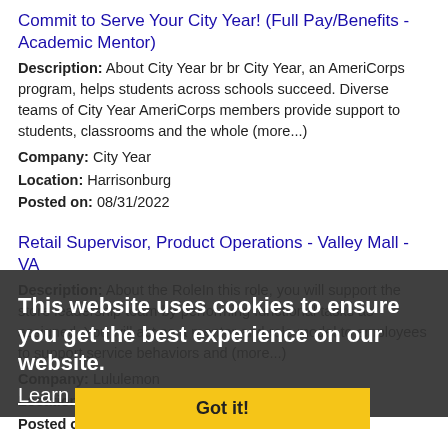Commit to Serve Your City Year! (Full Pay/Benefits - Academic Mentor)
Description: About City Year br br City Year, an AmeriCorps program, helps students across schools succeed. Diverse teams of City Year AmeriCorps members provide support to students, classrooms and the whole (more...)
Company: City Year
Location: Harrisonburg
Posted on: 08/31/2022
Retail Supervisor, Product Operations - Valley Mall - VA
Description: About the RoleIn this role, you will support the store leadership team by performing functional tasks as assigned. You will act as a mentor and role model to employees to support service behaviors and (more...)
Company: Lululemon
Location: Harrisonburg
Posted on: 08/31/2022
This website uses cookies to ensure you get the best experience on our website.
Learn more
Got it!
Travel Nurse RN - Progressive Care Unit - $1,512 per week
Description: Accountable Healthcare Staffing is seeking a travel nurse RN Progressive Care Unit for a travel nursing job in Harrisonburg, Virginia.Job Description Requirements ul li Specialty: